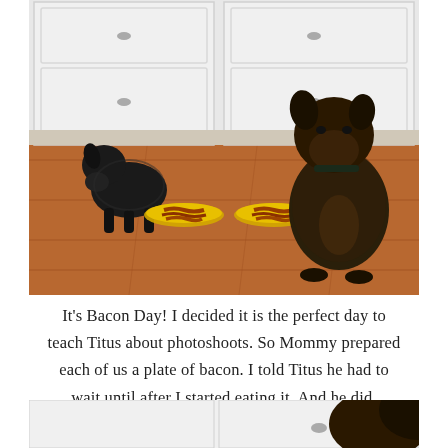[Figure (photo): Two dark fluffy dogs on a wooden floor in front of white kitchen cabinets. A small black dog on the left is sniffing toward two yellow plates with bacon strips. A larger dark dog sits on the right, looking at the camera.]
It's Bacon Day! I decided it is the perfect day to teach Titus about photoshoots. So Mommy prepared each of us a plate of bacon. I told Titus he had to wait until after I started eating it. And he did.
[Figure (photo): Partial view of a dog near white kitchen cabinets, cropped at bottom of page.]